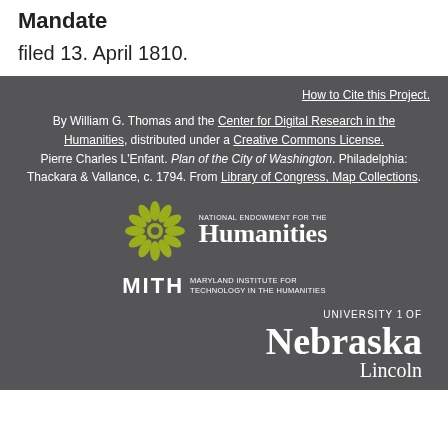Mandate
filed 13. April 1810.
How to Cite this Project.
By William G. Thomas and the Center for Digital Research in the Humanities, distributed under a Creative Commons License. Pierre Charles L'Enfant. Plan of the City of Washington. Philadelphia: Thackara & Vallance, c. 1794. From Library of Congress, Map Collections.
[Figure (logo): National Endowment for the Humanities logo with olive/yellow flower emblem and white text]
[Figure (logo): MITH Maryland Institute for Technology in the Humanities logo in white text]
[Figure (logo): University of Nebraska Lincoln logo in white serif text]